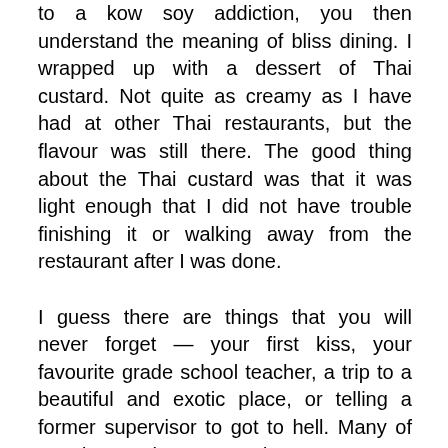to a kow soy addiction, you then understand the meaning of bliss dining. I wrapped up with a dessert of Thai custard. Not quite as creamy as I have had at other Thai restaurants, but the flavour was still there. The good thing about the Thai custard was that it was light enough that I did not have trouble finishing it or walking away from the restaurant after I was done.

I guess there are things that you will never forget — your first kiss, your favourite grade school teacher, a trip to a beautiful and exotic place, or telling a former supervisor to got to hell. Many of my dreams have a tendency to escape me. But when my dreams involve food that once brought about great spells of happiness, I awake with purpose and that I must live out those dreams. Despite the telecommunications company falling prey to a misguided president, my former colleagues and I would still put our